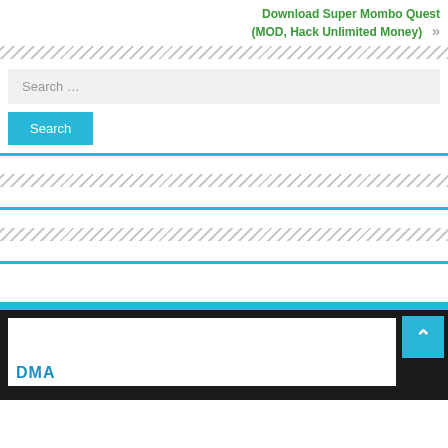Download Super Mombo Quest (MOD, Hack Unlimited Money)
[Figure (screenshot): Search widget with input field and Search button, with blue bottom border]
[Figure (screenshot): Empty widget block with blue bottom border]
[Figure (screenshot): Empty widget block with blue bottom border]
[Figure (screenshot): Website footer with dark background, white content box, blue back-to-top button, and partial text]